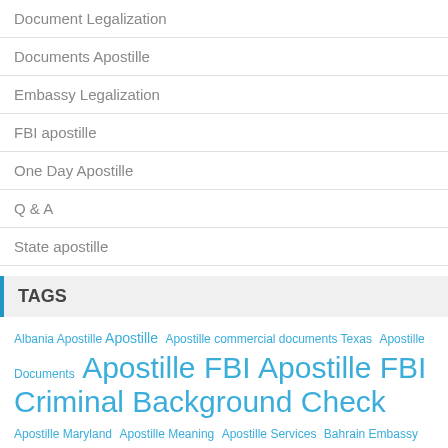Document Legalization
Documents Apostille
Embassy Legalization
FBI apostille
One Day Apostille
Q & A
State apostille
TAGS
Albania Apostille Apostille Apostille commercial documents Texas Apostille Documents Apostille FBI Apostille FBI Criminal Background Check Apostille Maryland Apostille Meaning Apostille Services Bahrain Embassy Legalization Certificate of Origin Legalization Certification Guide Commercial Export shipping Certificate Legalization